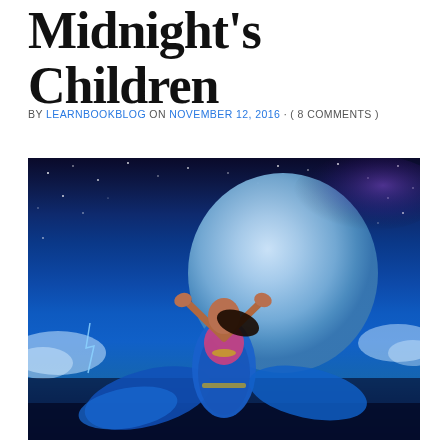Midnight's Children
BY LEARNBOOKBLOG ON NOVEMBER 12, 2016 · ( 8 COMMENTS )
[Figure (photo): A young woman in traditional Indian dance attire (blue sari with floral embroidery) dancing with arms raised against a dramatic blue night sky with a large moon, stars, and clouds — promotional image for Midnight's Children.]